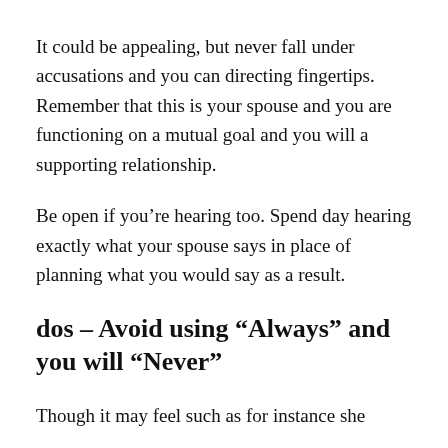It could be appealing, but never fall under accusations and you can directing fingertips. Remember that this is your spouse and you are functioning on a mutual goal and you will a supporting relationship.
Be open if you’re hearing too. Spend day hearing exactly what your spouse says in place of planning what you would say as a result.
dos – Avoid using “Always” and you will “Never”
Though it may feel such as for instance she